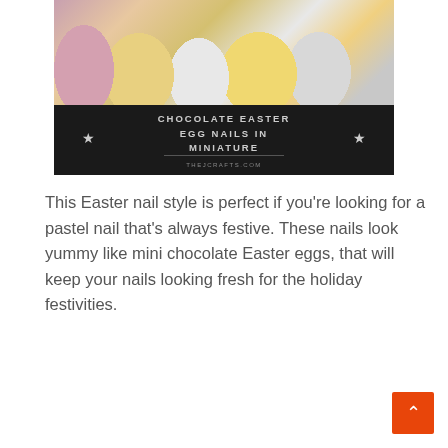[Figure (photo): Photo of Easter-themed speckled pastel nails (pink, yellow, white, gold) with chocolate Easter eggs, overlaid with a dark banner reading 'CHOCOLATE EASTER EGG NAILS IN MINIATURE' with star decorations and URL thejcrafts.com]
This Easter nail style is perfect if you're looking for a pastel nail that's always festive. These nails look yummy like mini chocolate Easter eggs, that will keep your nails looking fresh for the holiday festivities.